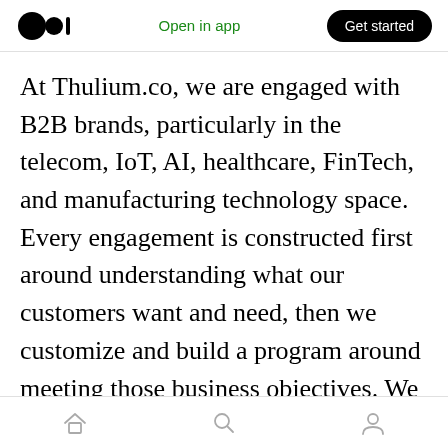Open in app | Get started
At Thulium.co, we are engaged with B2B brands, particularly in the telecom, IoT, AI, healthcare, FinTech, and manufacturing technology space. Every engagement is constructed first around understanding what our customers want and need, then we customize and build a program around meeting those business objectives. We are focused on strategy and implementation with measurable results to move the business bottomline. Some of our programs are Social Media Account Based Marketing (ABM) and other projects are centered around creating
[home icon] [search icon] [profile icon]